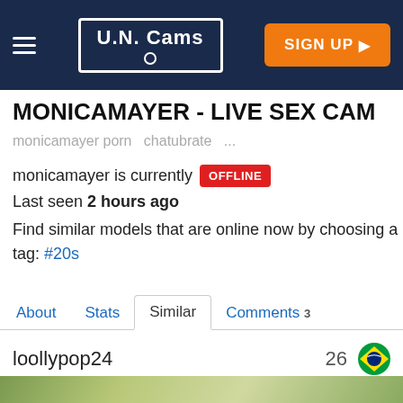U.N. Cams — SIGN UP
MONICAMAYER - LIVE SEX CAM
monicamayer porn   chatubrate   ...
monicamayer is currently OFFLINE
Last seen 2 hours ago
Find similar models that are online now by choosing a tag: #20s
About   Stats   Similar   Comments 3
loollypop24   26
[Figure (photo): Blurred outdoor background thumbnail preview]